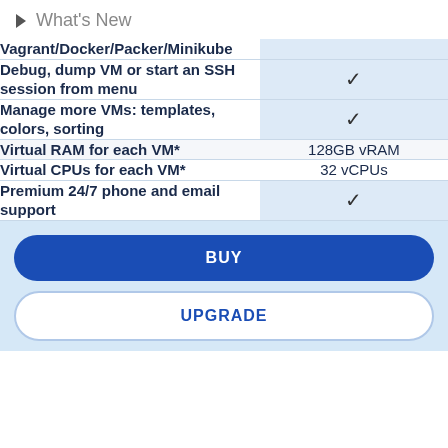What's New
| Feature | Value |
| --- | --- |
| Vagrant/Docker/Packer/Minikube |  |
| Debug, dump VM or start an SSH session from menu | ✓ |
| Manage more VMs: templates, colors, sorting | ✓ |
| Virtual RAM for each VM* | 128GB vRAM |
| Virtual CPUs for each VM* | 32 vCPUs |
| Premium 24/7 phone and email support | ✓ |
BUY
UPGRADE